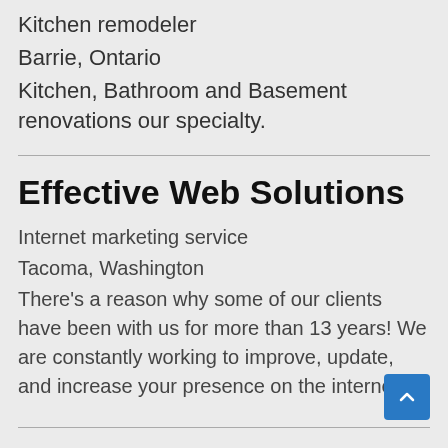Kitchen remodeler
Barrie, Ontario
Kitchen, Bathroom and Basement renovations our specialty.
Effective Web Solutions
Internet marketing service
Tacoma, Washington
There’s a reason why some of our clients have been with us for more than 13 years! We are constantly working to improve, update, and increase your presence on the internet